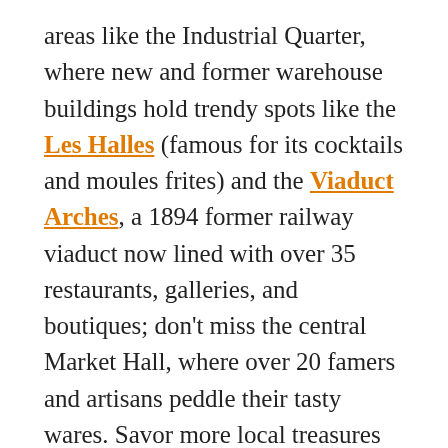areas like the Industrial Quarter, where new and former warehouse buildings hold trendy spots like the Les Halles (famous for its cocktails and moules frites) and the Viaduct Arches, a 1894 former railway viaduct now lined with over 35 restaurants, galleries, and boutiques; don't miss the central Market Hall, where over 20 famers and artisans peddle their tasty wares. Savor more local treasures at one of the city's many flea markets; standouts include the year-round Kanzlei market, featuring over 300 vendors. If the weather's agreeable, take a day trip to hike on Mount Uetilberg, from where you can take in panoramic views of the city and the Alps, or enjoy a scenic cruise on Lake Zurich, which run all year. The spectrum of fall colors